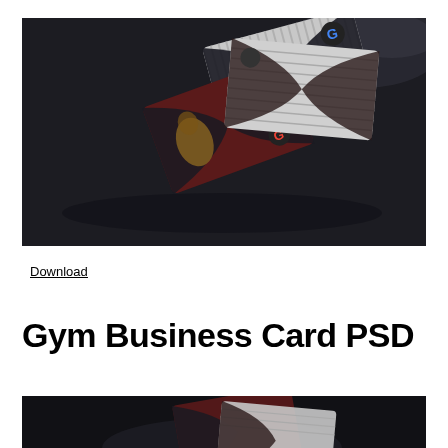[Figure (photo): Dark-themed gym business card mockup showing two business cards with red and dark color scheme, featuring a muscular person image and colorful G logo, placed on a dark surface]
Download
Gym Business Card PSD
[Figure (photo): Partial view of another gym business card mockup on dark background, partially cropped at bottom of page]